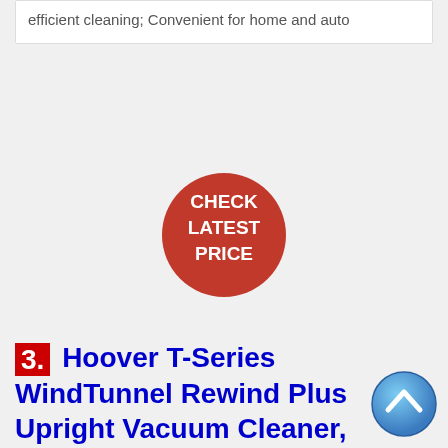efficient cleaning; Convenient for home and auto
[Figure (other): Red circular button with white text reading CHECK LATEST PRICE]
3. Hoover T-Series WindTunnel Rewind Plus Upright Vacuum Cleaner, with HEPA
[Figure (other): Blue circular scroll-to-top button with upward chevron arrow]